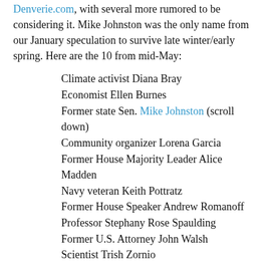Denverie.com, with several more rumored to be considering it. Mike Johnston was the only name from our January speculation to survive late winter/early spring. Here are the 10 from mid-May:
Climate activist Diana Bray
Economist Ellen Burnes
Former state Sen. Mike Johnston (scroll down)
Community organizer Lorena Garcia
Former House Majority Leader Alice Madden
Navy veteran Keith Pottratz
Former House Speaker Andrew Romanoff
Professor Stephany Rose Spaulding
Former U.S. Attorney John Walsh
Scientist Trish Zornio
So I, being damn Dem curious, went looking at the crop. Politico said that Mike Johnston already has $2.6 million cash on hand, followed by former ambassador Dan Baer with $1 million. John Walsh and former Colorado House Speaker Andrew Romanoff have war chests in the high-six figures. "They've already carved out endorsements and strategies to guide them over the coming months, whether